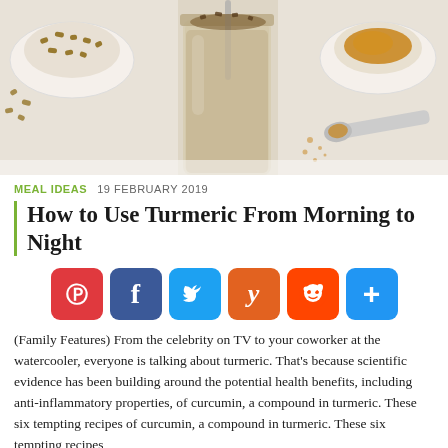[Figure (photo): Photo of a mason jar smoothie with turmeric and spices, with bowls of nuts and turmeric powder and a spoon with spice on a white background]
MEAL IDEAS   19 FEBRUARY 2019
How to Use Turmeric From Morning to Night
[Figure (infographic): Social sharing buttons: Pinterest (red), Facebook (blue), Twitter (light blue), Yummly (orange), Reddit (orange-red), More/Share (blue)]
(Family Features) From the celebrity on TV to your coworker at the watercooler, everyone is talking about turmeric. That's because scientific evidence has been building around the potential health benefits, including anti-inflammatory properties, of curcumin, a compound in turmeric. These six tempting recipes of curcumin, a compound in turmeric. These six tempting recipes